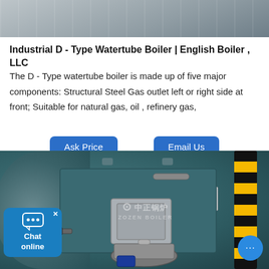[Figure (photo): Top portion of an industrial boiler or manufacturing equipment, grayscale industrial photo]
Industrial D - Type Watertube Boiler | English Boiler , LLC
The D - Type watertube boiler is made up of five major components: Structural Steel Gas outlet left or right side at front; Suitable for natural gas, oil , refinery gas,
[Figure (photo): Industrial D-Type Watertube Boiler with ZOZEN BOILER watermark. Shows the front panel of a large blue-green industrial boiler with burner assembly, control panels, and yellow-black striped safety pole on the right. Chat widget on lower left.]